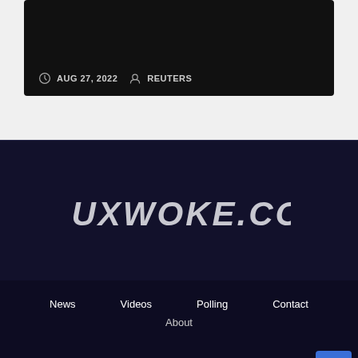[Figure (screenshot): Dark article card thumbnail with meta information showing date and author]
AUG 27, 2022  REUTERS
[Figure (logo): FauxWoke.com logo in stylized grunge/brush font on dark navy background]
News  Videos  Polling  Contact  About